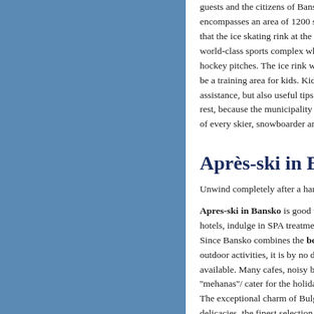[Figure (other): Solid blue panel on the left side of the page]
guests and the citizens of Bansko. The encompasses an area of 1200 square that the ice skating rink at the food c world-class sports complex which w hockey pitches. The ice rink was pu be a training area for kids. Kids are assistance, but also useful tips for sk rest, because the municipality const of every skier, snowboarder and holi
Après-ski in Bansko
Unwind completely after a hard day
Apres-ski in Bansko is good value f hotels, indulge in SPA treatments, tr Since Bansko combines the best ski outdoor activities, it is by no doubt a available. Many cafes, noisy bars, st ''mehanas''/ cater for the holidayma The exceptional charm of Bulgarian delicacies, the finest selection of Bu has much to offer. You will be spoilt that the best après-ski venue in Bans Gondola station.
If you have the energy to carry on er Strazhite and have a great fun togeth